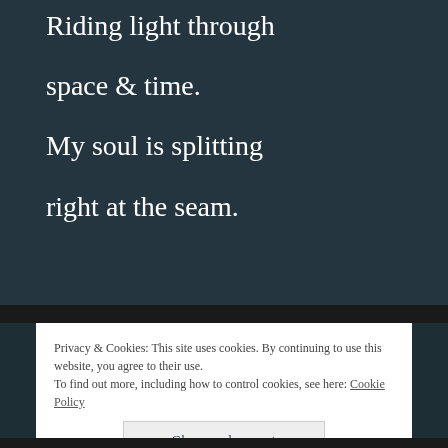Riding light through

space & time.

My soul is splitting

right at the seam.
Privacy & Cookies: This site uses cookies. By continuing to use this website, you agree to their use.
To find out more, including how to control cookies, see here: Cookie Policy
Close and accept